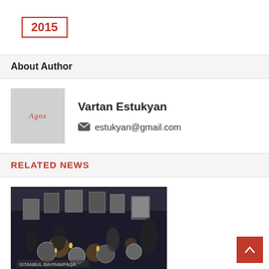2015
About Author
Vartan Estukyan
estukyan@gmail.com
RELATED NEWS
[Figure (photo): A crowd gathered with candles and portraits of people, commemorating an event on 12.25.2015]
12.25.2015